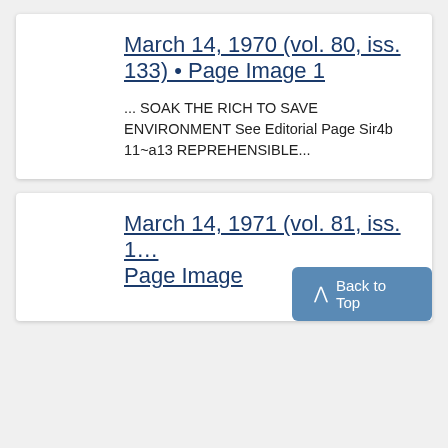March 14, 1970 (vol. 80, iss. 133) • Page Image 1
... SOAK THE RICH TO SAVE ENVIRONMENT See Editorial Page Sir4b 11~a13 REPREHENSIBLE...
March 14, 1971 (vol. 81, iss. 1…) Page Image